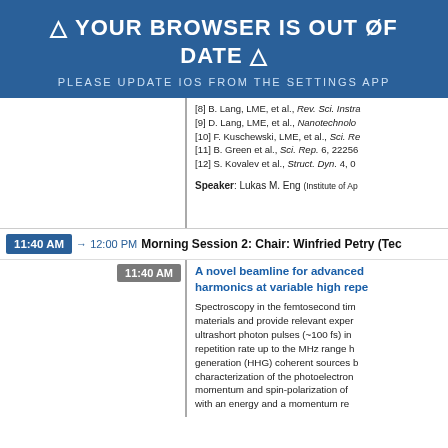[Figure (screenshot): Blue browser out-of-date warning banner with text '⚠ YOUR BROWSER IS OUT OF DATE ⚠' and subtitle 'PLEASE UPDATE IOS FROM THE SETTINGS APP']
[8] B. Lang, LME, et al., Rev. Sci. Instra...
[9] D. Lang, LME, et al., Nanotechnolo...
[10] F. Kuschewski, LME, et al., Sci. Re...
[11] B. Green et al., Sci. Rep. 6, 22256...
[12] S. Kovalev et al., Struct. Dyn. 4, 0...
Speaker: Lukas M. Eng (Institute of Ap...
11:40 AM → 12:00 PM   Morning Session 2: Chair: Winfried Petry (Tec...
11:40 AM
A novel beamline for advanced... harmonics at variable high repe...
Spectroscopy in the femtosecond tim... materials and provide relevant exper... ultrashort photon pulses (~100 fs) in... repetition rate up to the MHz range h... generation (HHG) coherent sources b... characterization of the photoelectron... momentum and spin-polarization of... with an energy and a momentum re...